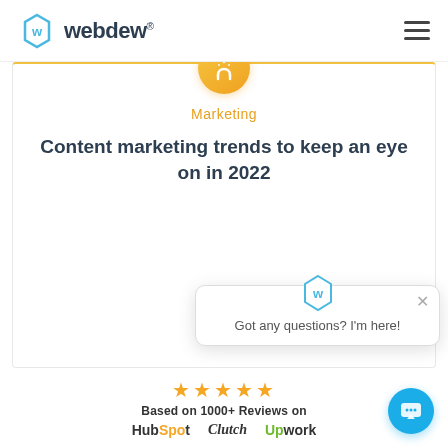webdew®
[Figure (logo): Webdew orange circle icon with stylized W/magnet symbol]
Marketing
Content marketing trends to keep an eye on in 2022
[Figure (screenshot): Chat popup with webdew logo icon and text: Got any questions? I'm here!]
★★★★★
Based on 1000+ Reviews on
[Figure (logo): HubSpot, Clutch, and Upwork logos]